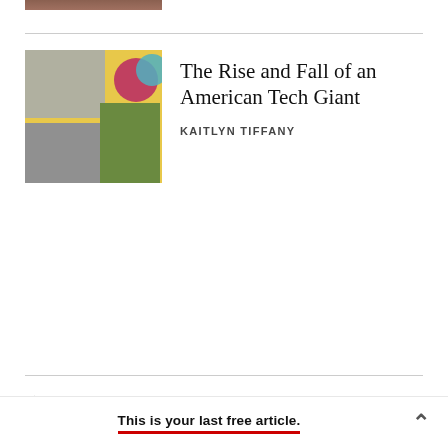[Figure (photo): Partial thumbnail image visible at top of page, cropped]
[Figure (photo): Article thumbnail collage image showing historical black-and-white street photos combined with colorful graphic elements on yellow background]
The Rise and Fall of an American Tech Giant
KAITLYN TIFFANY
(Spoilers for the entirety of The Good Place ahead.)
For about 95 percent of season one, The Good Place (created by Michael Schur) was simply a delightful comedy. It was dense with jokes and populated by
This is your last free article.